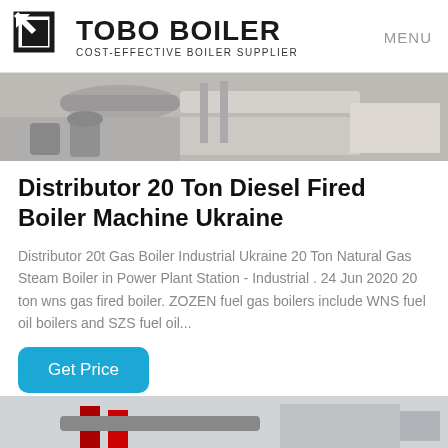TOBO BOILER — COST-EFFECTIVE BOILER SUPPLIER | MENU
[Figure (photo): Industrial boiler equipment with pipes and metal panels, viewed from close range]
Distributor 20 Ton Diesel Fired Boiler Machine Ukraine
Distributor 20t Gas Boiler Industrial Ukraine 20 Ton Natural Gas Steam Boiler in Power Plant Station - Industrial . 24 Jun 2020 20 ton wns gas fired boiler. ZOZEN fuel gas boilers include WNS fuel oil boilers and SZS fuel oil...
Get Price
[Figure (photo): Industrial boiler machinery with red and grey pipes, partially visible at bottom of page]